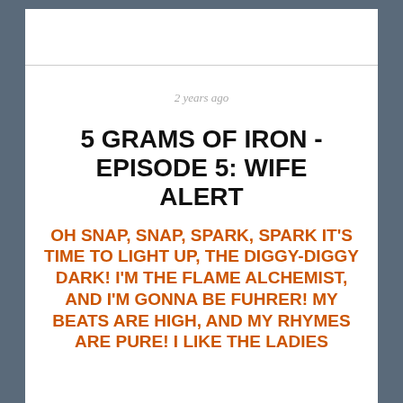2 years ago
5 GRAMS OF IRON - EPISODE 5: WIFE ALERT
OH SNAP, SNAP, SPARK, SPARK IT'S TIME TO LIGHT UP, THE DIGGY-DIGGY DARK! I'M THE FLAME ALCHEMIST, AND I'M GONNA BE FUHRER! MY BEATS ARE HIGH, AND MY RHYMES ARE PURE! I LIKE THE LADIES